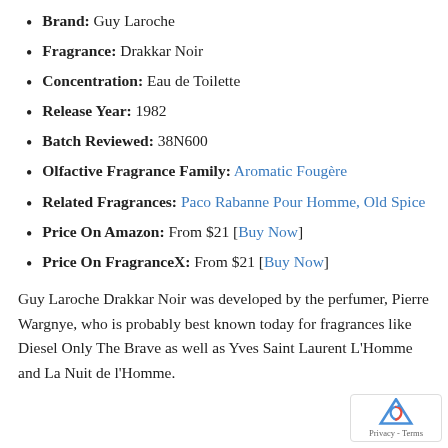Brand: Guy Laroche
Fragrance: Drakkar Noir
Concentration: Eau de Toilette
Release Year: 1982
Batch Reviewed: 38N600
Olfactive Fragrance Family: Aromatic Fougère
Related Fragrances: Paco Rabanne Pour Homme, Old Spice
Price On Amazon: From $21 [Buy Now]
Price On FragranceX: From $21 [Buy Now]
Guy Laroche Drakkar Noir was developed by the perfumer, Pierre Wargnye, who is probably best known today for fragrances like Diesel Only The Brave as well as Yves Saint Laurent L'Homme and La Nuit de l'Homme.